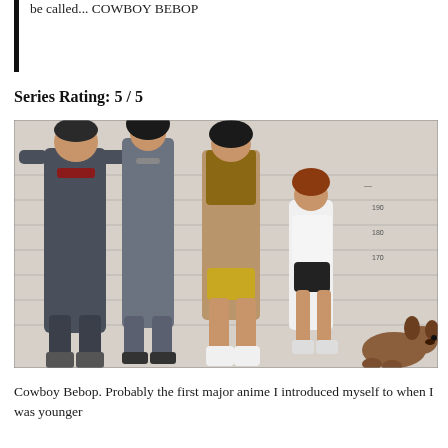be called... COWBOY BEBOP
Series Rating: 5 / 5
[Figure (illustration): Anime lineup illustration from Cowboy Bebop showing four characters (Jet, Spike, Faye, Ed) and a dog (Ein) posed against a height-chart wall background in a police lineup style.]
Cowboy Bebop. Probably the first major anime I introduced myself to when I was younger